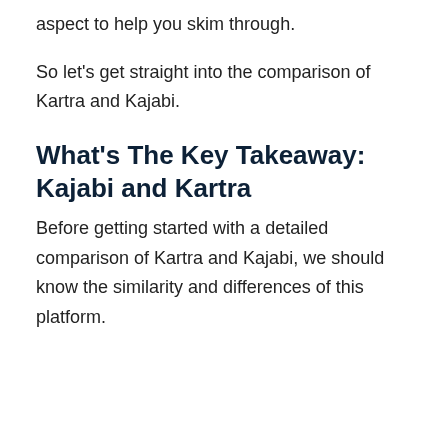aspect to help you skim through.
So let's get straight into the comparison of Kartra and Kajabi.
What's The Key Takeaway: Kajabi and Kartra
Before getting started with a detailed comparison of Kartra and Kajabi, we should know the similarity and differences of this platform.